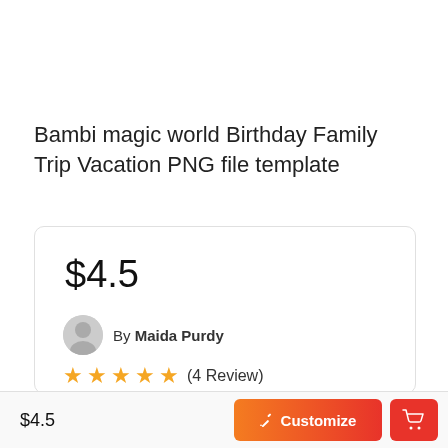Bambi magic world Birthday Family Trip Vacation PNG file template
$4.5
By Maida Purdy
★★★★★ (4 Review)
$4.5
✏ Customize
[Figure (other): Shopping cart icon button]